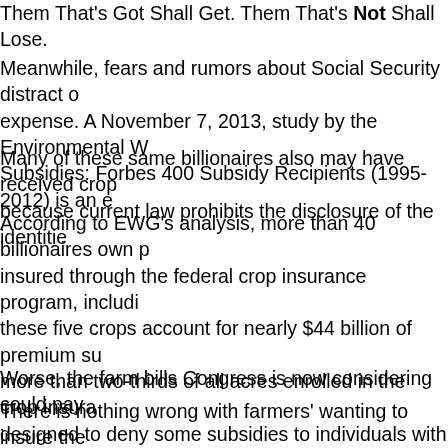Them That's Got Shall Get. Them That's Not Shall Lose.
Meanwhile, fears and rumors about Social Security distract at expense. A November 7, 2013, study by the Environmental W Subsidies: Forbes 400 Subsidy Recipients (1995-2012) is an e
Many of these same billionaires also may have received crop because current law prohibits the disclosure of the identitie
According to EWG's analysis, more than 40 billionaires own insured through the federal crop insurance program, includi these five crops account for nearly $44 billion of premium su more than two-thirds of all acres enrolled in the crop insura designed to deny some subsidies to individuals with annual o News published a report highlighting some of the billionaires declined to apply it to crop insurance, which has become the
Worse, the farm bills Congress is now considering could pay
There is nothing wrong with farmers' wanting to insure the business. Weather, disease and pests can cause crops to fail. by a reporter what he'll do with his winnings. The farmer sa